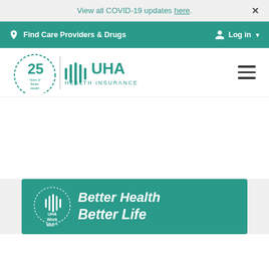View all COVID-19 updates here.
Find Care Providers & Drugs   Log in
[Figure (logo): UHA Health Insurance logo with 25 Years of Better Health badge]
[Figure (infographic): UHA Work Well banner with text: Better Health Better Life]